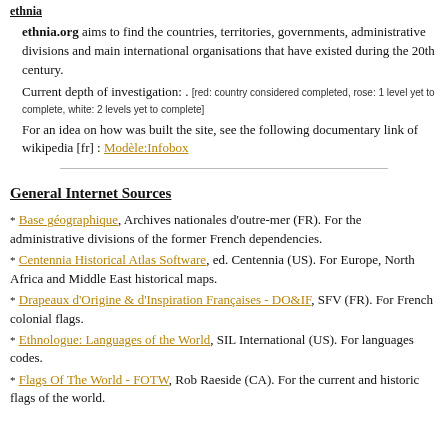ethnia
ethnia.org aims to find the countries, territories, governments, administrative divisions and main international organisations that have existed during the 20th century.
Current depth of investigation: . [red: country considered completed, rose: 1 level yet to complete, white: 2 levels yet to complete]
For an idea on how was built the site, see the following documentary link of wikipedia [fr] : Modèle:Infobox
General Internet Sources
Base géographique, Archives nationales d'outre-mer (FR). For the administrative divisions of the former French dependencies.
Centennia Historical Atlas Software, ed. Centennia (US). For Europe, North Africa and Middle East historical maps.
Drapeaux d'Origine & d'Inspiration Françaises - DO&IF, SFV (FR). For French colonial flags.
Ethnologue: Languages of the World, SIL International (US). For languages codes.
Flags Of The World - FOTW, Rob Raeside (CA). For the current and historic flags of the world.